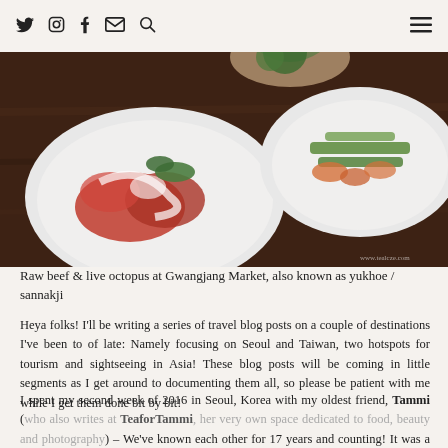Social media icons (twitter, instagram, facebook, email, search) and hamburger menu
[Figure (photo): Overhead photo of two white bowls of Korean food on a dark wooden table - raw beef (yukhoe) with red sauce on left and vegetables/seafood dish on right. Watermark: www.tealcze.com]
Raw beef & live octopus at Gwangjang Market, also known as yukhoe / sannakji
Heya folks! I'll be writing a series of travel blog posts on a couple of destinations I've been to of late: Namely focusing on Seoul and Taiwan, two hotspots for tourism and sightseeing in Asia! These blog posts will be coming in little segments as I get around to documenting them all, so please be patient with me while I get them done bit by bit!
I spent my second week of 2016 in Seoul, Korea with my oldest friend, Tammi (who also writes at TeaforTammi, her very own space dedicated to food, beauty and photography) – We've known each other for 17 years and counting! It was a very well-spent vacation catching up with a dear girlfriend,